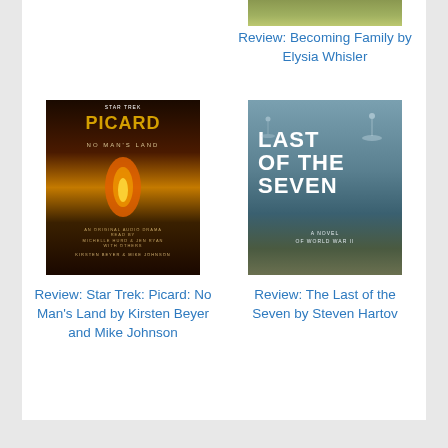[Figure (photo): Top portion of a book cover image (cropped), showing a person outdoors in a warm/golden setting]
Review: Becoming Family by Elysia Whisler
[Figure (photo): Star Trek: Picard - No Man's Land book cover showing two women's faces with fire effect, gold text on dark background, by Kirsten Beyer and Mike Johnson]
[Figure (photo): The Last of the Seven by Steven Hartov book cover showing large white text on a misty mountainous landscape with parachutes]
Review: Star Trek: Picard: No Man's Land by Kirsten Beyer and Mike Johnson
Review: The Last of the Seven by Steven Hartov